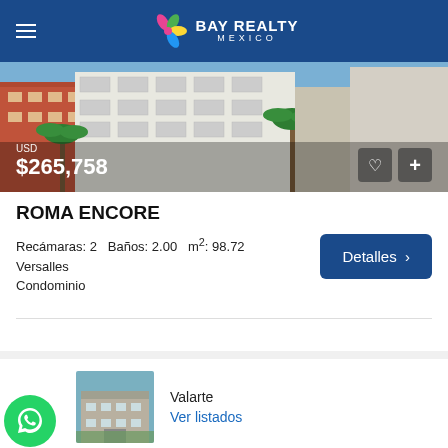Bay Realty Mexico
[Figure (photo): Aerial view of colorful condominium buildings with balconies surrounded by palm trees]
USD $265,758
ROMA ENCORE
Recámaras: 2  Baños: 2.00  m²: 98.72
Versalles
Condominio
Detalles >
Valarte
Ver listados
[Figure (photo): Thumbnail photo of a condominium building]